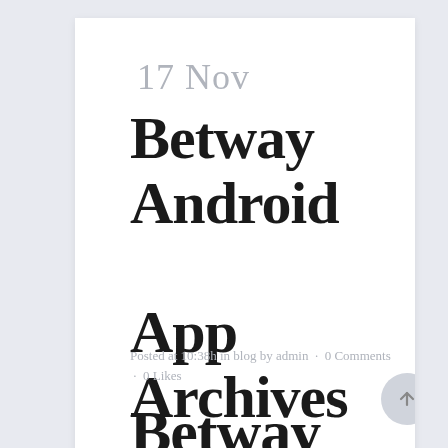17 Nov
Betway Android App Archives
Posted at 10:38h in blog by admin · 0 Comments · 0 Likes
Betway Android